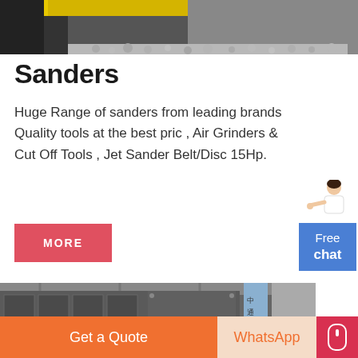[Figure (photo): Top portion of industrial machinery with yellow and grey components on gravel/stone background]
Sanders
Huge Range of sanders from leading brands Quality tools at the best pric , Air Grinders & Cut Off Tools , Jet Sander Belt/Disc 15Hp.
[Figure (illustration): Customer service representative figure next to a blue Free chat button widget]
[Figure (photo): Large industrial impact crusher or screening machine in a factory setting with Chinese text banners in background]
MORE
Get a Quote
WhatsApp